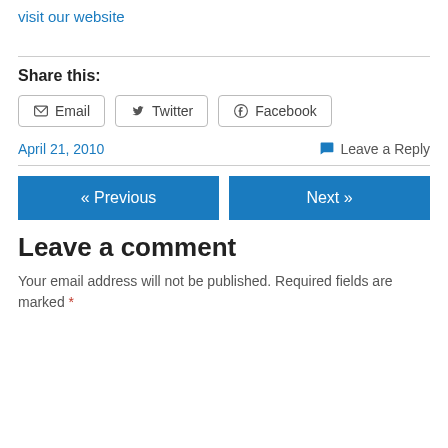visit our website
Share this:
Email  Twitter  Facebook
April 21, 2010
Leave a Reply
« Previous
Next »
Leave a comment
Your email address will not be published. Required fields are marked *